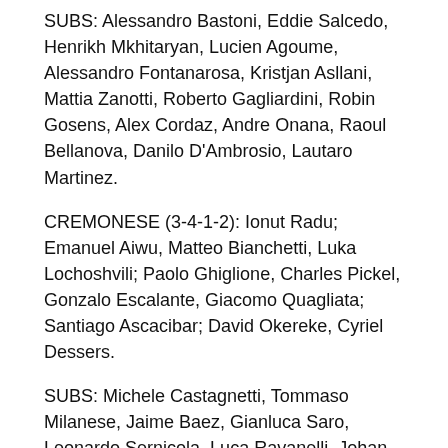SUBS: Alessandro Bastoni, Eddie Salcedo, Henrikh Mkhitaryan, Lucien Agoume, Alessandro Fontanarosa, Kristjan Asllani, Mattia Zanotti, Roberto Gagliardini, Robin Gosens, Alex Cordaz, Andre Onana, Raoul Bellanova, Danilo D'Ambrosio, Lautaro Martinez.
CREMONESE (3-4-1-2): Ionut Radu; Emanuel Aiwu, Matteo Bianchetti, Luka Lochoshvili; Paolo Ghiglione, Charles Pickel, Gonzalo Escalante, Giacomo Quagliata; Santiago Ascacibar; David Okereke, Cyriel Dessers.
SUBS: Michele Castagnetti, Tommaso Milanese, Jaime Baez, Gianluca Saro, Leonardo Sernicola, Luca Ravanelli, Johan Vasquez, Samuel Di Carmine, Cristian Buonaiuto, Vlad Chiriches, Frank Tsadjout, Mouhamadou Sarr, Daniel Ciofani L. Zanimacchia, Emanuele Valeri.